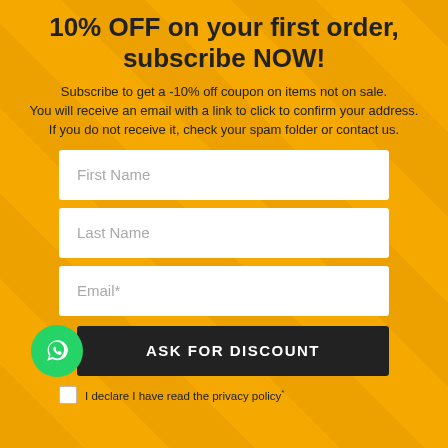10% OFF on your first order, subscribe NOW!
Subscribe to get a -10% off coupon on items not on sale.
You will receive an email with a link to click to confirm your address.
If you do not receive it, check your spam folder or contact us.
First Name
Last Name
Email*
ASK FOR DISCOUNT
I declare I have read the privacy policy*